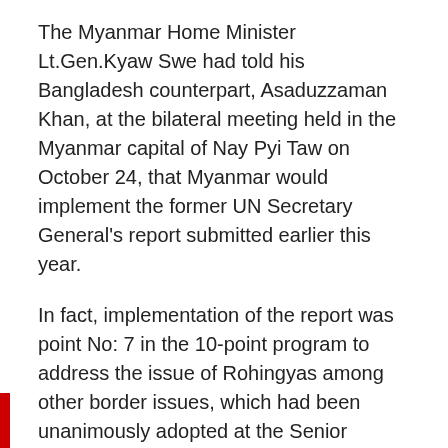The Myanmar Home Minister Lt.Gen.Kyaw Swe had told his Bangladesh counterpart, Asaduzzaman Khan, at the bilateral meeting held in the Myanmar capital of Nay Pyi Taw on October 24, that Myanmar would implement the former UN Secretary General's report submitted earlier this year.
In fact, implementation of the report was point No: 7 in the 10-point program to address the issue of Rohingyas among other border issues, which had been unanimously adopted at the Senior Officials' and Ministerial meeting on October 24.
ADVERTISEMENT
Point No: 7 said: “ Myanmar affirms its commitment to immediately halt the outflow of Myanmar residents to Bangladesh, to restore normalcy in Rakhine to enable the